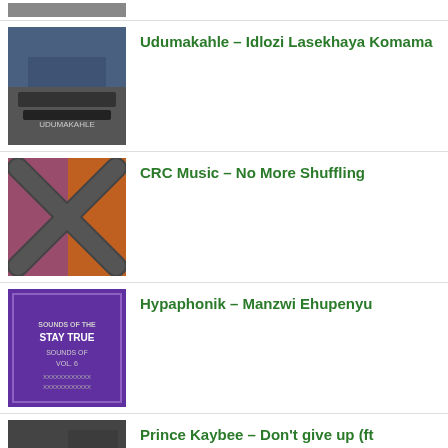[Figure (photo): Partial album art thumbnail at top, cropped]
Udumakahle – Idlozi Lasekhaya Komama
CRC Music – No More Shuffling
Hypaphonik – Manzwi Ehupenyu
Prince Kaybee – Don't give up (ft Hadassah) (Soul Route Mix)
Khuzani – Ingwe Nengonyama
comment closed